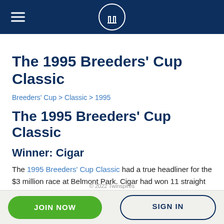The 1995 Breeders' Cup Classic
Breeders' Cup > Classic > 1995
The 1995 Breeders' Cup Classic
Winner: Cigar
The 1995 Breeders' Cup Classic had a true headliner for the $3 million race at Belmont Park. Cigar had won 11 straight races, nine that year and would go into the gate as the 3-5 favorite with Jerry Bailey aboard. But Cigar had never run on an off…
JOIN NOW   SIGN IN